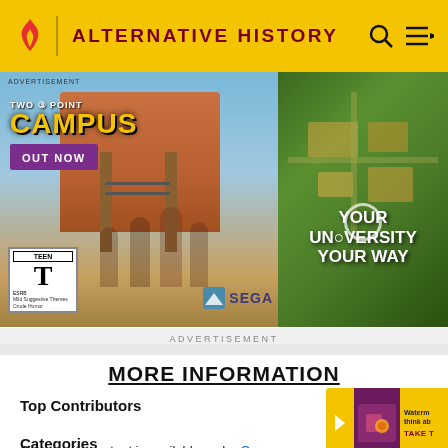ALTERNATIVE HISTORY
[Figure (screenshot): Advertisement banner for Two Point Campus video game by SEGA. Left panel shows game characters in front of a university building with logo reading 'TWO POINT CAMPUS OUT NOW', ESRB Teen rating, and text 'Mild Suggestive Themes Crude Humor'. Right panel shows aerial campus view with text 'YOUR UNIVERSITY YOUR WAY'.]
ADVERTISEMENT
MORE INFORMATION
Top Contributors
Categories
Community content is available under